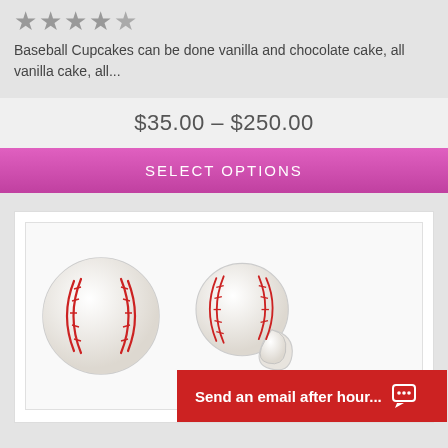[Figure (other): 5-star rating display with grey stars, approximately 4 out of 5 stars filled]
Baseball Cupcakes can be done vanilla and chocolate cake, all vanilla cake, all...
$35.00 – $250.00
SELECT OPTIONS
[Figure (photo): Two baseball-themed cupcake decorations: a full baseball and a baseball-shaped cupcake ring topper, both white with red stitching]
Send an email after hour...